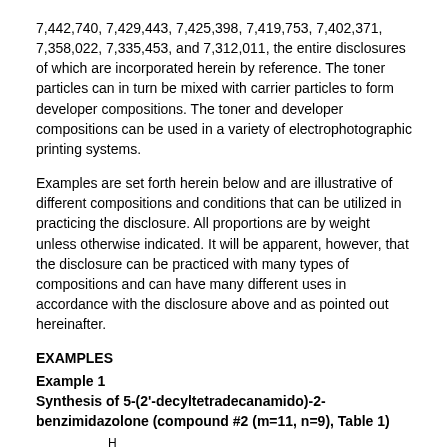7,442,740, 7,429,443, 7,425,398, 7,419,753, 7,402,371, 7,358,022, 7,335,453, and 7,312,011, the entire disclosures of which are incorporated herein by reference. The toner particles can in turn be mixed with carrier particles to form developer compositions. The toner and developer compositions can be used in a variety of electrophotographic printing systems.
Examples are set forth herein below and are illustrative of different compositions and conditions that can be utilized in practicing the disclosure. All proportions are by weight unless otherwise indicated. It will be apparent, however, that the disclosure can be practiced with many types of compositions and can have many different uses in accordance with the disclosure above and as pointed out hereinafter.
EXAMPLES
Example 1
Synthesis of 5-(2'-decyltetradecanamido)-2-benzimidazolone (compound #2 (m=11, n=9), Table 1)
[Figure (illustration): Partial chemical structure diagram showing a benzimidazolone ring with H and N atoms labeled, beginning of a molecular structure]